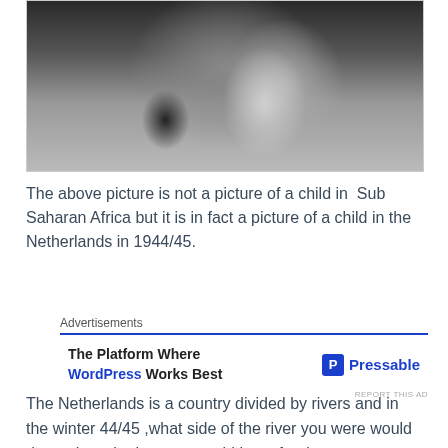[Figure (photo): Black and white photograph showing a close-up of a malnourished child, grayscale tones with dark and light contrast]
The above picture is not a picture of a child in  Sub Saharan Africa but it is in fact a picture of a child in the Netherlands in 1944/45.
Advertisements
[Figure (other): Advertisement for Pressable: The Platform Where WordPress Works Best]
The Netherlands is a country divided by rivers and in the winter 44/45 ,what side of the river you were would determine whether you would have food or not.